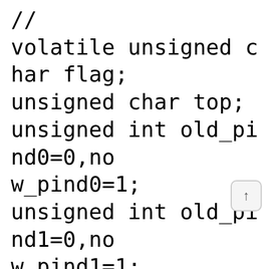//
volatile unsigned char flag;
unsigned char top;
unsigned int old_pind0=0,now_pind0=1;
unsigned int old_pind1=0,now_pind1=1;
unsigned int old_pind2=0,now_pind2=1;
unsigned int LED_Flag=0;
double Freq;